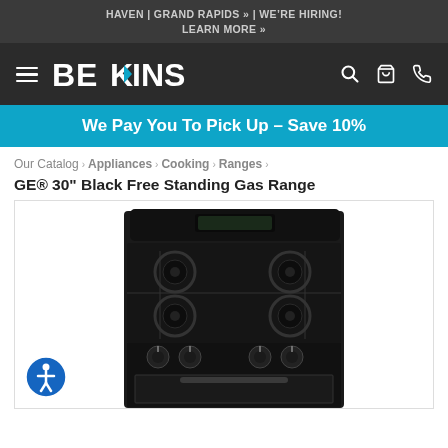HAVEN | GRAND RAPIDS » | WE'RE HIRING! LEARN MORE »
[Figure (logo): Bekkins appliance store logo with navigation bar including hamburger menu, search, cart, and phone icons on dark background]
We Pay You To Pick Up – Save 10%
Our Catalog › Appliances › Cooking › Ranges ›
GE® 30" Black Free Standing Gas Range
[Figure (photo): GE black 30-inch free standing gas range stove with 4 burners, viewed from front-top angle showing cooktop and oven door]